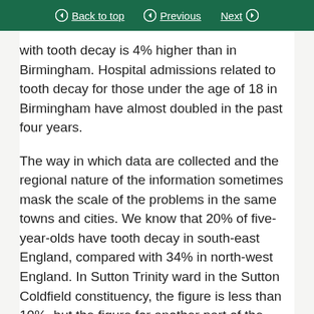Back to top   Previous   Next
with tooth decay is 4% higher than in Birmingham. Hospital admissions related to tooth decay for those under the age of 18 in Birmingham have almost doubled in the past four years.
The way in which data are collected and the regional nature of the information sometimes mask the scale of the problems in the same towns and cities. We know that 20% of five-year-olds have tooth decay in south-east England, compared with 34% in north-west England. In Sutton Trinity ward in the Sutton Coldfield constituency, the figure is less than 10%, but the figure for another part of the same city—the Selly Oak ward in my own constituency—is 47%, which is almost twice the national average. Shocking as those figures might